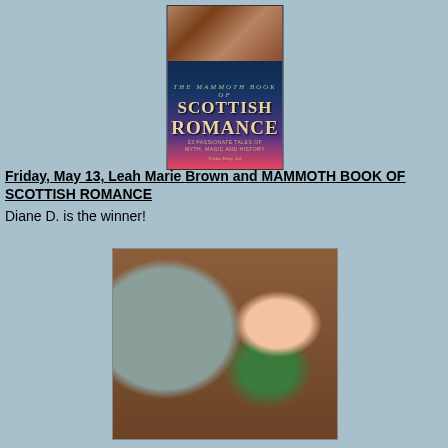[Figure (photo): Book cover for 'The Mammoth Book of Scottish Romance' showing a romantic couple embracing at the top and the title text below]
Friday, May 13, Leah Marie Brown and MAMMOTH BOOK OF SCOTTISH ROMANCE
Diane D. is the winner!
[Figure (photo): Author Leah Marie Brown smiling and posing next to a terracotta warrior statue. She has dark hair, wearing a green jacket and floral top with a red necklace.]